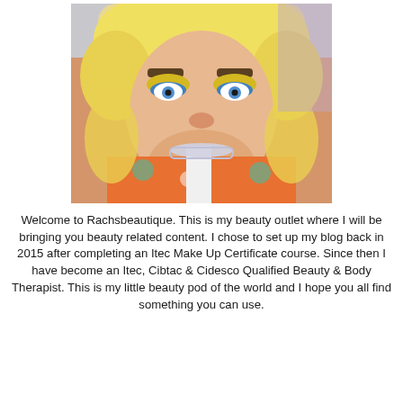[Figure (photo): Close-up selfie of a woman with blonde curly hair, blue eyes, wearing colorful makeup with yellow and blue eyeshadow, a floral orange top, and a rhinestone necklace.]
Welcome to Rachsbeautique. This is my beauty outlet where I will be bringing you beauty related content. I chose to set up my blog back in 2015 after completing an Itec Make Up Certificate course. Since then I have become an Itec, Cibtac & Cidesco Qualified Beauty & Body Therapist. This is my little beauty pod of the world and I hope you all find something you can use.